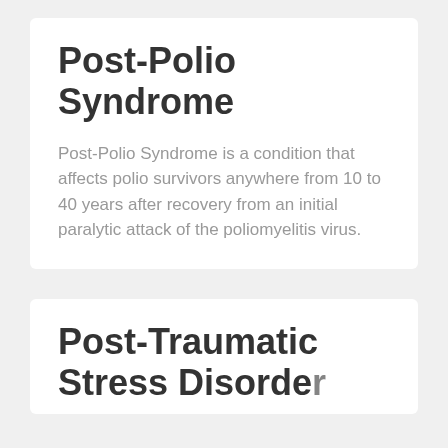Post-Polio Syndrome
Post-Polio Syndrome is a condition that affects polio survivors anywhere from 10 to 40 years after recovery from an initial paralytic attack of the poliomyelitis virus.
Post-Traumatic Stress Disorder